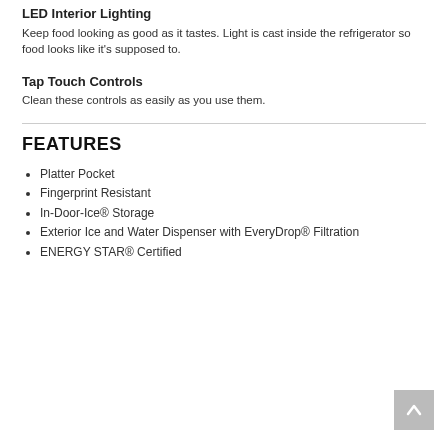LED Interior Lighting
Keep food looking as good as it tastes. Light is cast inside the refrigerator so food looks like it's supposed to.
Tap Touch Controls
Clean these controls as easily as you use them.
FEATURES
Platter Pocket
Fingerprint Resistant
In-Door-Ice® Storage
Exterior Ice and Water Dispenser with EveryDrop® Filtration
ENERGY STAR® Certified